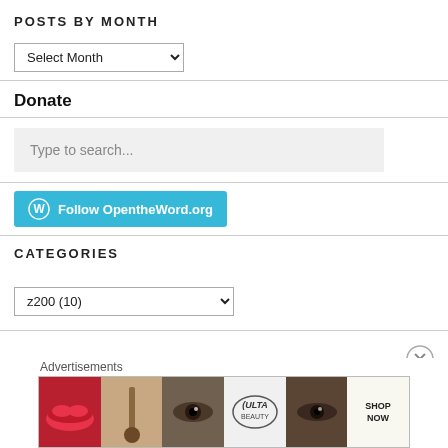POSTS BY MONTH
Select Month
Donate
Type to search...
[Figure (other): Follow OpentheWord.org button with WordPress logo]
CATEGORIES
z200  (10)
Advertisements
[Figure (photo): Advertisement banner with makeup/beauty images including lips, brush, eye, Ulta logo, and Shop Now call to action]